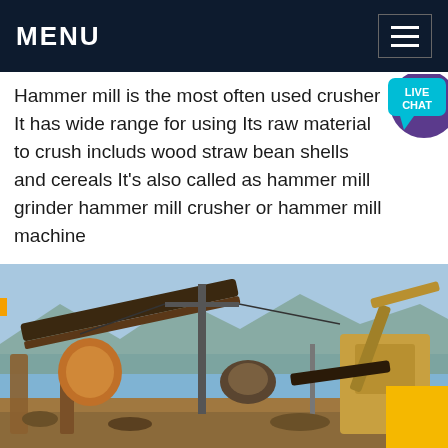MENU
Hammer mill is the most often used crusher It has wide range for using Its raw material to crush includs wood straw bean shells and cereals It's also called as hammer mill grinder hammer mill crusher or hammer mill machine
The hammer mill
Get price
[Figure (photo): Industrial mining/crushing machinery plant with conveyor belts, crusher equipment, tall poles, and mountains in background under blue sky. Yellow accent block in bottom-right corner.]